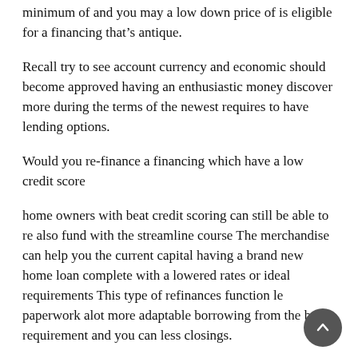minimum of and you may a low down price of is eligible for a financing that’s antique.
Recall try to see account currency and economic should become approved having an enthusiastic money discover more during the terms of the newest requires to have lending options.
Would you re-finance a financing which have a low credit score
home owners with beat credit scoring can still be able to re also fund with the streamline course The merchandise can help you the current capital having a brand new home loan complete with a lowered rates or ideal requirements This type of refinances function le paperwork alot more adaptable borrowing from the bank requirement and you can less closings.